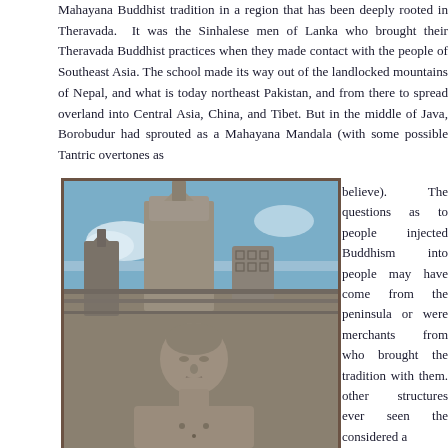Mahayana Buddhist tradition in a region that has been deeply rooted in Theravada. It was the Sinhalese men of Lanka who brought their Theravada Buddhist practices when they made contact with the people of Southeast Asia. The school made its way out of the landlocked mountains of Nepal, and what is today northeast Pakistan, and from there to spread overland into Central Asia, China, and Tibet. But in the middle of Java, Borobudur had sprouted as a Mahayana Mandala (with some possible Tantric overtones as some believe). The questions as to people injected Buddhism into people may have come from the peninsula or were merchants from who brought the tradition with them. other structures ever seen the considered a
[Figure (photo): Photograph of Borobudur temple in Java, Indonesia. Shows a large stone Buddha statue in the foreground with serene expression, and behind it the iconic stupas and stone structures of Borobudur rising against a blue sky with clouds.]